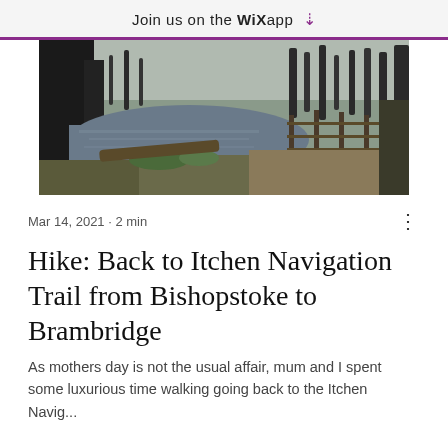Join us on the WiX app ⬇
[Figure (photo): Outdoor nature scene with a river or stream, bare winter trees, fallen logs, and a wooden railed walkway or bridge structure in the background. Grey sky above.]
Mar 14, 2021 · 2 min
Hike: Back to Itchen Navigation Trail from Bishopstoke to Brambridge
As mothers day is not the usual affair, mum and I spent some luxurious time walking going back to the Itchen Navig...